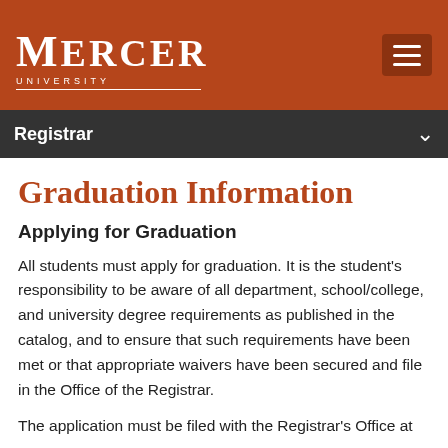[Figure (logo): Mercer University logo in white text on burnt orange header background, with hamburger menu icon on the right]
Registrar
Graduation Information
Applying for Graduation
All students must apply for graduation. It is the student's responsibility to be aware of all department, school/college, and university degree requirements as published in the catalog, and to ensure that such requirements have been met or that appropriate waivers have been secured and file in the Office of the Registrar.
The application must be filed with the Registrar's Office at